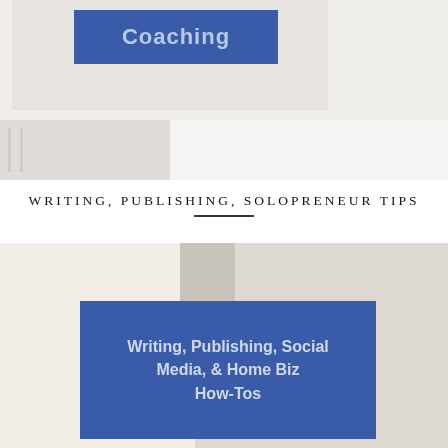[Figure (photo): Top portion of a photo showing a blue banner/sign with text 'Coaching' on a light beige/cream background, partially cropped]
[Figure (photo): Partial strip of a blurred light background, possibly an office or shelf scene]
WRITING, PUBLISHING, SOLOPRENEUR TIPS
[Figure (photo): Photo of books or notebooks with a blue overlay card reading 'Writing, Publishing, Social Media, & Home Biz How-Tos']